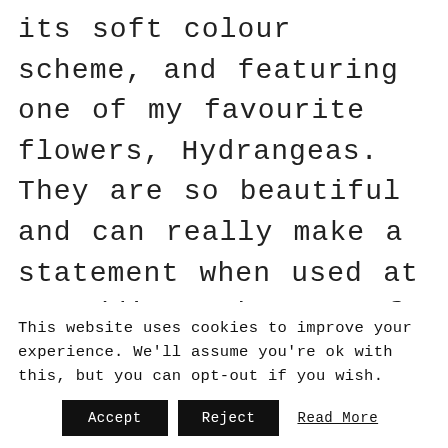its soft colour scheme, and featuring one of my favourite flowers, Hydrangeas. They are so beautiful and can really make a statement when used at a wedding. The use of this stunning flower is becoming increasingly popular at weddings and it's not difficult to
This website uses cookies to improve your experience. We'll assume you're ok with this, but you can opt-out if you wish.